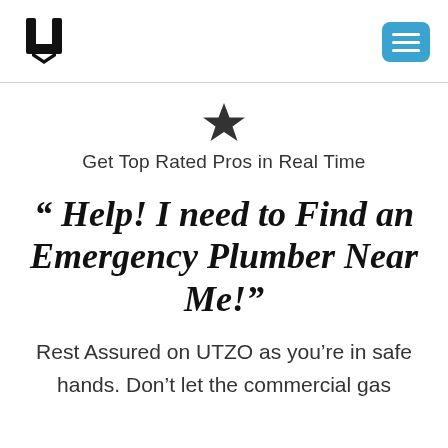[Figure (logo): UTZO logo - stylized U letter in black]
[Figure (other): Blue hamburger menu button with three white horizontal lines]
[Figure (other): Black star icon]
Get Top Rated Pros in Real Time
“ Help! I need to Find an Emergency Plumber Near Me!”
Rest Assured on UTZO as you’re in safe hands. Don’t let the commercial gas